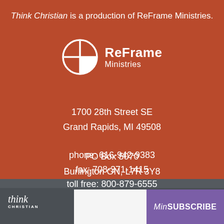Think Christian is a production of ReFrame Ministries.
[Figure (logo): ReFrame Ministries logo: a circle with a cross dividing it into quarters, with 'ReFrame Ministries' text to the right]
1700 28th Street SE
Grand Rapids, MI 49508

PO Box 5070
Burlington ON, L7R 3Y8
phone: 616-942-9383
fax: 708-371-1415
toll free: 800-879-6555
[Figure (logo): Think Christian logo in bottom left corner]
SUBSCRIBE